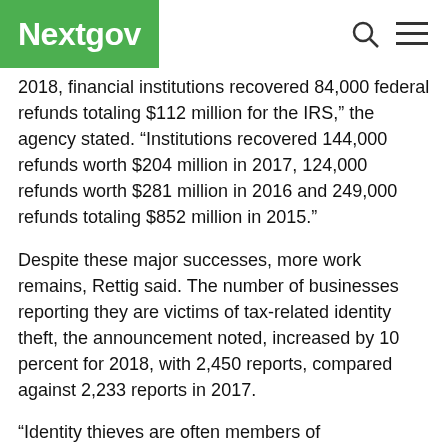Nextgov
2018, financial institutions recovered 84,000 federal refunds totaling $112 million for the IRS,” the agency stated. “Institutions recovered 144,000 refunds worth $204 million in 2017, 124,000 refunds worth $281 million in 2016 and 249,000 refunds totaling $852 million in 2015.”
Despite these major successes, more work remains, Rettig said. The number of businesses reporting they are victims of tax-related identity theft, the announcement noted, increased by 10 percent for 2018, with 2,450 reports, compared against 2,233 reports in 2017.
“Identity thieves are often members of sophisticated criminal syndicates, based here and abroad,” Rettig added. “They have the resources, the technology and the skills to carry on this fight. The IRS and the summit partners must continue to work together to protect taxpayers as cyberthieves continue to